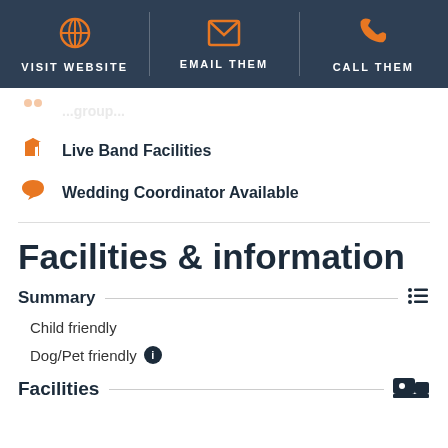VISIT WEBSITE | EMAIL THEM | CALL THEM
Live Band Facilities
Wedding Coordinator Available
Facilities & information
Summary
Child friendly
Dog/Pet friendly
Facilities